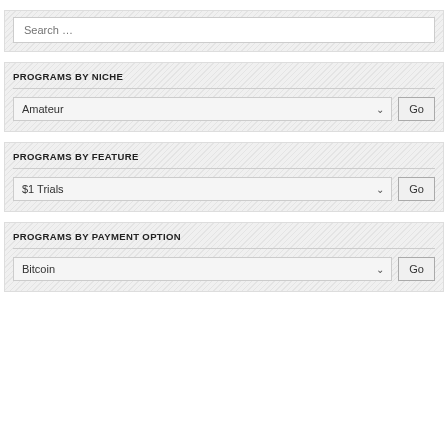Search …
PROGRAMS BY NICHE
Amateur
Go
PROGRAMS BY FEATURE
$1 Trials
Go
PROGRAMS BY PAYMENT OPTION
Bitcoin
Go